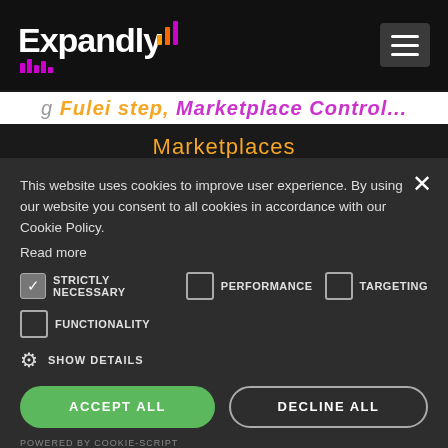[Figure (logo): Expandly logo with bar chart icon on black navigation bar, and hamburger menu icon on the right]
This website uses cookies to improve user experience. By using our website you consent to all cookies in accordance with our Cookie Policy. Read more
STRICTLY NECESSARY   PERFORMANCE   TARGETING
FUNCTIONALITY
SHOW DETAILS
ACCEPT ALL   DECLINE ALL
POWERED BY COOKIE-SCRIPT